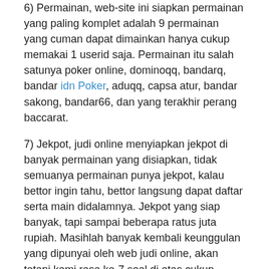6) Permainan, web-site ini siapkan permainan yang paling komplet adalah 9 permainan yang cuman dapat dimainkan hanya cukup memakai 1 userid saja. Permainan itu salah satunya poker online, dominoqq, bandarq, bandar idn Poker, aduqq, capsa atur, bandar sakong, bandar66, dan yang terakhir perang baccarat.
7) Jekpot, judi online menyiapkan jekpot di banyak permainan yang disiapkan, tidak semuanya permainan punya jekpot, kalau bettor ingin tahu, bettor langsung dapat daftar serta main didalamnya. Jekpot yang siap banyak, tapi sampai beberapa ratus juta rupiah. Masihlah banyak kembali keunggulan yang dipunyai oleh web judi online, akan tetapi kami rasa ke-7 soal di atas cukup menunjukkan jika web ini patut jadi yang terbaik dan pantas menjadi tempat main banyak bettor sekaligus.
Judi online udah dipercayai oleh kebanyakan penggila judi online, pasti mengenali baik dengan permainan